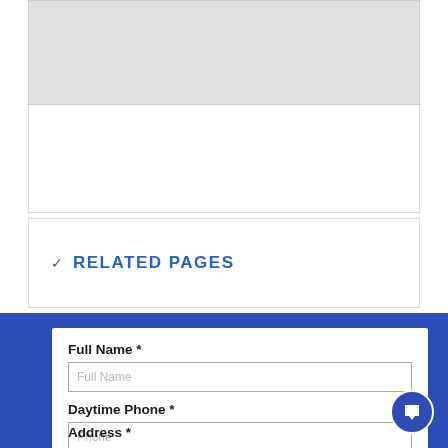[Figure (screenshot): Gray placeholder box at the top of the page]
RELATED PAGES
Full Name *
Daytime Phone *
Email *
Address *